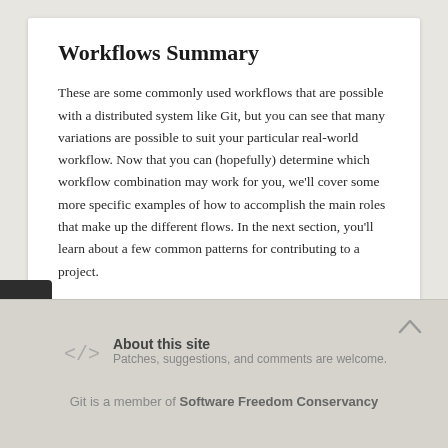Workflows Summary
These are some commonly used workflows that are possible with a distributed system like Git, but you can see that many variations are possible to suit your particular real-world workflow. Now that you can (hopefully) determine which workflow combination may work for you, we'll cover some more specific examples of how to accomplish the main roles that make up the different flows. In the next section, you'll learn about a few common patterns for contributing to a project.
prev | next
About this site
Patches, suggestions, and comments are welcome.
Git is a member of Software Freedom Conservancy